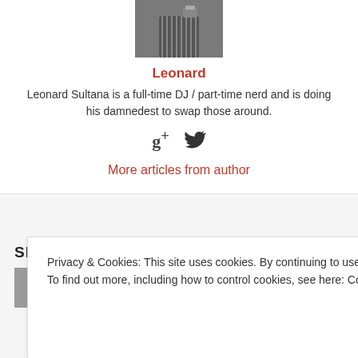[Figure (photo): Author photo of Leonard Sultana, partially cropped at top]
Leonard
Leonard Sultana is a full-time DJ / part-time nerd and is doing his damnedest to swap those around.
[Figure (infographic): Social media icons: Google+ and Twitter bird]
More articles from author
SIMILAR ARTICLES
Privacy & Cookies: This site uses cookies. By continuing to use this website, you agree to their use.
To find out more, including how to control cookies, see here: Cookie Policy
Close and accept